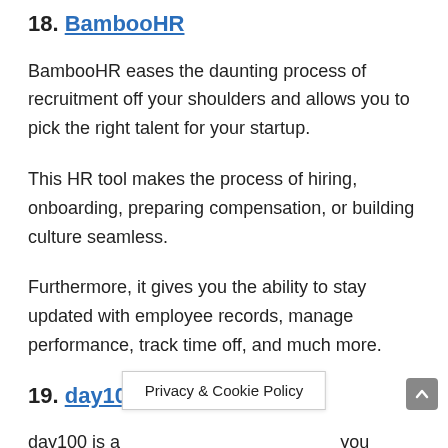18. BambooHR
BambooHR eases the daunting process of recruitment off your shoulders and allows you to pick the right talent for your startup.
This HR tool makes the process of hiring, onboarding, preparing compensation, or building culture seamless.
Furthermore, it gives you the ability to stay updated with employee records, manage performance, track time off, and much more.
19. day100
day100 is a … you easily hire the